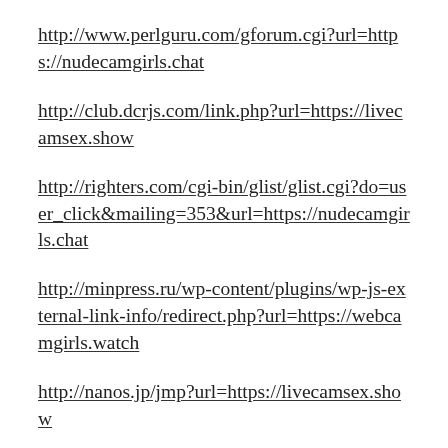http://www.perlguru.com/gforum.cgi?url=https://nudecamgirls.chat
http://club.dcrjs.com/link.php?url=https://livecamsex.show
http://righters.com/cgi-bin/glist/glist.cgi?do=user_click&mailing=353&url=https://nudecamgirls.chat
http://minpress.ru/wp-content/plugins/wp-js-external-link-info/redirect.php?url=https://webcamgirls.watch
http://nanos.jp/jmp?url=https://livecamsex.show